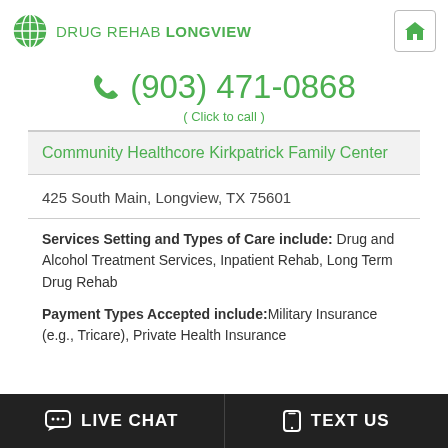DRUG REHAB LONGVIEW
(903) 471-0868 ( Click to call )
| Community Healthcore Kirkpatrick Family Center |
| 425 South Main, Longview, TX 75601 |
| Services Setting and Types of Care include: Drug and Alcohol Treatment Services, Inpatient Rehab, Long Term Drug Rehab
Payment Types Accepted include: Military Insurance (e.g., Tricare), Private Health Insurance |
LIVE CHAT   TEXT US